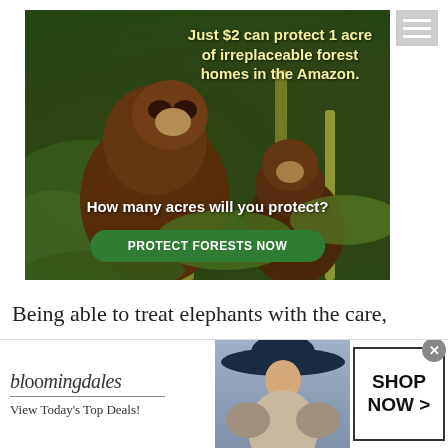[Figure (illustration): Hamburger menu icon, three horizontal white lines on grey background, top right corner]
[Figure (photo): Advertisement banner showing two monkeys (tufted capuchins) on bamboo branches in Amazon forest. Text overlay reads: 'Just $2 can protect 1 acre of irreplaceable forest homes in the Amazon. How many acres will you protect?' with a green 'PROTECT FORESTS NOW' button.]
Being able to treat elephants with the care,
[Figure (illustration): Bloomingdale's advertisement banner showing logo, 'View Today's Top Deals!' tagline, a woman in a large navy hat, and 'SHOP NOW >' button.]